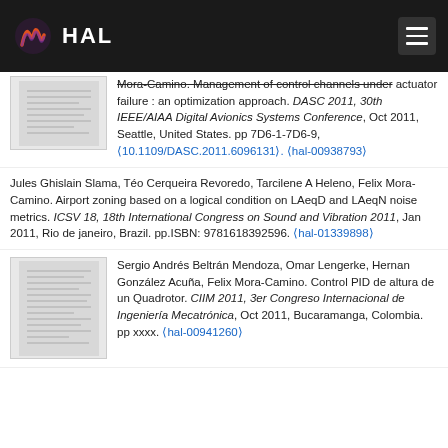HAL
Mora-Camino. Management of control channels under actuator failure : an optimization approach. DASC 2011, 30th IEEE/AIAA Digital Avionics Systems Conference, Oct 2011, Seattle, United States. pp 7D6-1-7D6-9, (10.1109/DASC.2011.6096131). (hal-00938793)
Jules Ghislain Slama, Téo Cerqueira Revoredo, Tarcilene A Heleno, Felix Mora-Camino. Airport zoning based on a logical condition on LAeqD and LAeqN noise metrics. ICSV 18, 18th International Congress on Sound and Vibration 2011, Jan 2011, Rio de janeiro, Brazil. pp.ISBN: 9781618392596. (hal-01339898)
Sergio Andrés Beltrán Mendoza, Omar Lengerke, Hernan González Acuña, Felix Mora-Camino. Control PID de altura de un Quadrotor. CIIM 2011, 3er Congreso Internacional de Ingeniería Mecatrónica, Oct 2011, Bucaramanga, Colombia. pp xxxx. (hal-00941260)